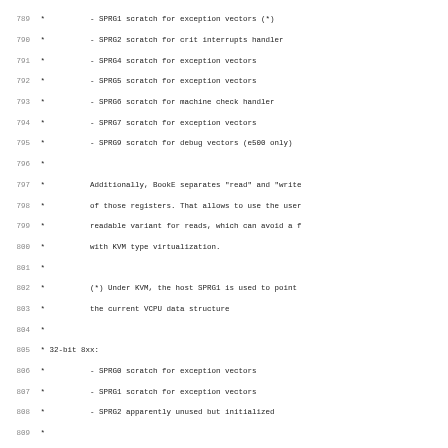Source code listing lines 789-820 showing PowerPC SPRG register comments and preprocessor defines for CONFIG_PPC64 and CONFIG_PPC_BOOK3S_64